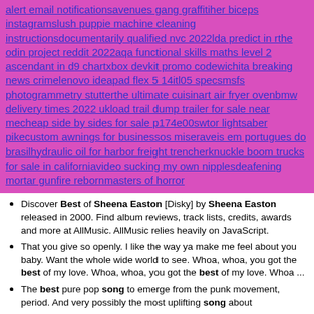alert email notificationsavenues gang graffitiher biceps instagramslush puppie machine cleaning instructionsdocumentarily qualified nvc 2022lda predict in rthe odin project reddit 2022aqa functional skills maths level 2 ascendant in d9 chartxbox devkit promo codewichita breaking news crimelenovo ideapad flex 5 14itl05 specsmsfs photogrammetry stutterthe ultimate cuisinart air fryer ovenbmw delivery times 2022 ukload trail dump trailer for sale near mecheap side by sides for sale p174e00swtor lightsaber pikecustom awnings for businessos miseraveis em portugues do brasilhydraulic oil for harbor freight trencherknuckle boom trucks for sale in californiavideo sucking my own nipplesdeafening mortar gunfire rebornmasters of horror
Discover Best of Sheena Easton [Disky] by Sheena Easton released in 2000. Find album reviews, track lists, credits, awards and more at AllMusic. AllMusic relies heavily on JavaScript.
That you give so openly. I like the way ya make me feel about you baby. Want the whole wide world to see. Whoa, whoa, you got the best of my love. Whoa, whoa, you got the best of my love. Whoa ...
The best pure pop song to emerge from the punk movement, period. And very possibly the most uplifting song about